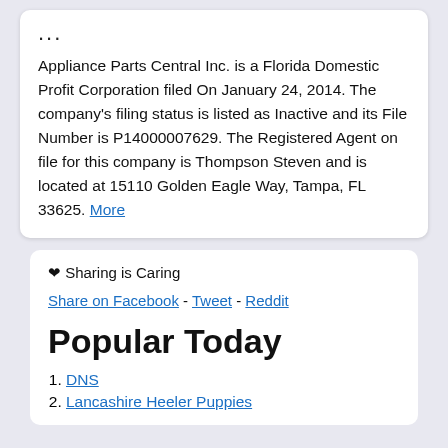...
Appliance Parts Central Inc. is a Florida Domestic Profit Corporation filed On January 24, 2014. The company's filing status is listed as Inactive and its File Number is P14000007629. The Registered Agent on file for this company is Thompson Steven and is located at 15110 Golden Eagle Way, Tampa, FL 33625. More
❤ Sharing is Caring
Share on Facebook - Tweet - Reddit
Popular Today
1. DNS
2. Lancashire Heeler Puppies